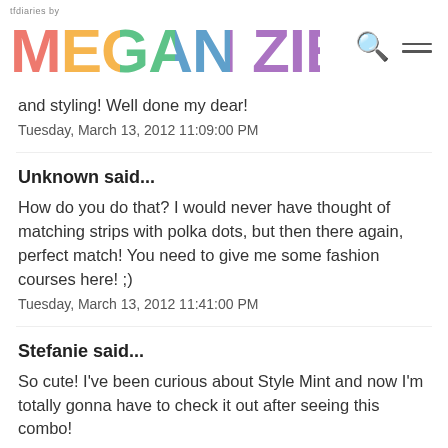tfdiaries by MEGAN ZIETZ
and styling! Well done my dear!
Tuesday, March 13, 2012 11:09:00 PM
Unknown said...
How do you do that? I would never have thought of matching strips with polka dots, but then there again, perfect match! You need to give me some fashion courses here! ;)
Tuesday, March 13, 2012 11:41:00 PM
Stefanie said...
So cute! I've been curious about Style Mint and now I'm totally gonna have to check it out after seeing this combo!